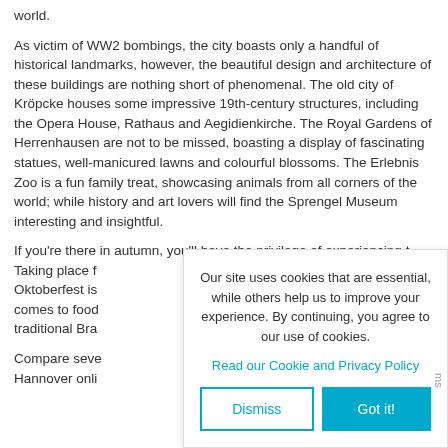world.

As victim of WW2 bombings, the city boasts only a handful of historical landmarks, however, the beautiful design and architecture of these buildings are nothing short of phenomenal. The old city of Kröpcke houses some impressive 19th-century structures, including the Opera House, Rathaus and Aegidienkirche. The Royal Gardens of Herrenhausen are not to be missed, boasting a display of fascinating statues, well-manicured lawns and colourful blossoms. The Erlebnis Zoo is a fun family treat, showcasing animals from all corners of the world; while history and art lovers will find the Sprengel Museum interesting and insightful.

If you're there in autumn, you'll have the privilege of experiencing t[...] Taking place f[...] Oktoberfest is [...] comes to food [...] traditional Bra[...]

Compare seve[...] Hannover onli[...]
Our site uses cookies that are essential, while others help us to improve your experience. By continuing, you agree to our use of cookies.

Read our Cookie and Privacy Policy

Dismiss    Got it!